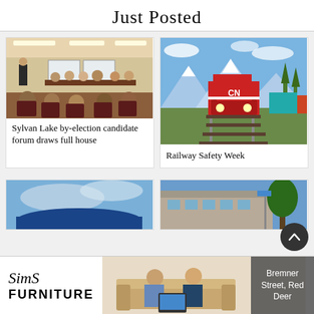Just Posted
[Figure (photo): Meeting room with people seated at tables and a presenter standing at the front]
Sylvan Lake by-election candidate forum draws full house
[Figure (photo): Red CN locomotive train coming toward camera on tracks with mountains and blue sky in background]
Railway Safety Week
[Figure (photo): Blue object against sky with clouds]
[Figure (photo): Building exterior with trees and street sign]
[Figure (photo): Advertisement: Sims Furniture, Bremner Street, Red Deer, with two men sitting on a couch]